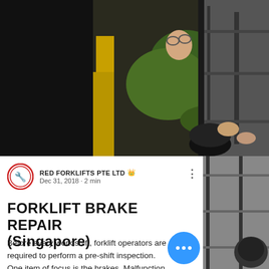[Figure (photo): Mechanic in green shirt working on forklift brake mechanism with yellow industrial equipment in background]
[Figure (photo): Grayscale photo of forklift in right side panel]
RED FORKLIFTS PTE LTD  Dec 31, 2018 · 2 min
FORKLIFT BRAKE REPAIR (Singapore)
Before every work shift, forklift operators are required to perform a pre-shift inspection. One item of focus is the brakes. Malfunction of the forklift brakes can result in serious